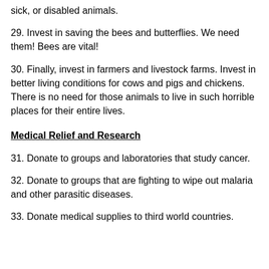sick, or disabled animals.
29.  Invest in saving the bees and butterflies.  We need them!  Bees are vital!
30.  Finally, invest in farmers and livestock farms.  Invest in better living conditions for cows and pigs and chickens.  There is no need for those animals to live in such horrible places for their entire lives.
Medical Relief and Research
31. Donate to groups and laboratories that study cancer.
32. Donate to groups that are fighting to wipe out malaria and other parasitic diseases.
33.  Donate medical supplies to third world countries.